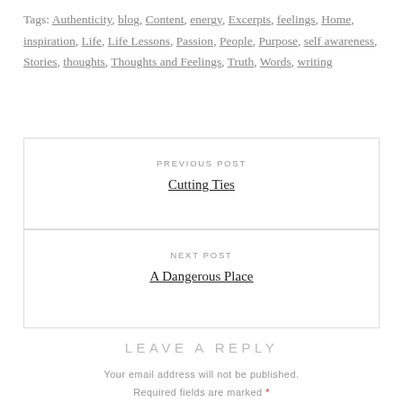Tags: Authenticity, blog, Content, energy, Excerpts, feelings, Home, inspiration, Life, Life Lessons, Passion, People, Purpose, self awareness, Stories, thoughts, Thoughts and Feelings, Truth, Words, writing
PREVIOUS POST
Cutting Ties
NEXT POST
A Dangerous Place
LEAVE A REPLY
Your email address will not be published.
Required fields are marked *